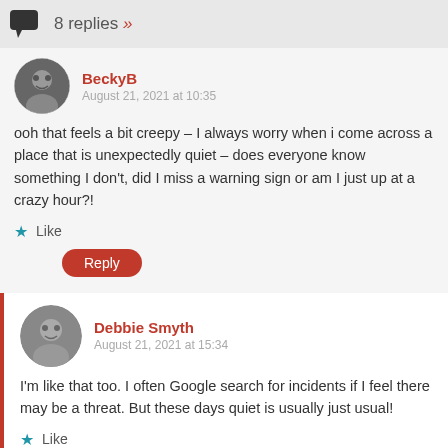8 replies »
BeckyB
August 21, 2021 at 10:35
ooh that feels a bit creepy – I always worry when i come across a place that is unexpectedly quiet – does everyone know something I don't, did I miss a warning sign or am I just up at a crazy hour?!
★ Like
Reply
Debbie Smyth
August 21, 2021 at 15:34
I'm like that too. I often Google search for incidents if I feel there may be a threat. But these days quiet is usually just usual!
★ Like
Reply